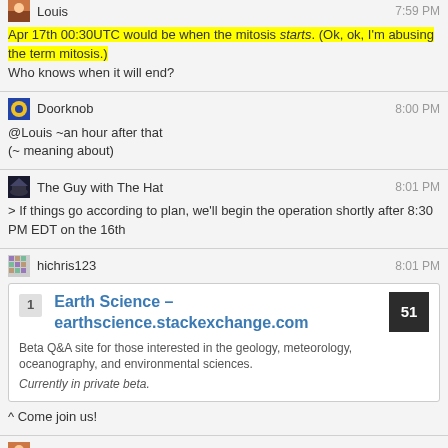Louis 7:59 PM
Apr 17th 00:30UTC would be when the mitosis starts. (Ok, ok, I'm abusing the term mitosis.)
Who knows when it will end?
Doorknob 8:00 PM
@Louis ~an hour after that
(~ meaning about)
The Guy with The Hat 8:01 PM
> If things go according to plan, we'll begin the operation shortly after 8:30 PM EDT on the 16th
hichris123 8:01 PM
1 Earth Science – earthscience.stackexchange.com
Beta Q&A site for those interested in the geology, meteorology, oceanography, and environmental sciences.
Currently in private beta.
^ Come join us!
Louis 8:01 PM
@Doorknob I'm sticking with 6 to 8 any-time-nows. :)
TCPMAN.EXE 8:02 PM
6-8 laters